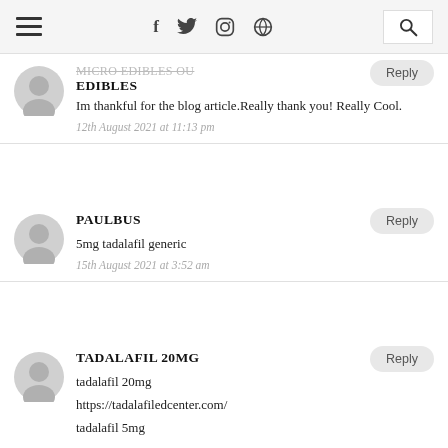Navigation bar with menu, social icons (f, twitter, instagram, pinterest), and search
EDIBLES
Im thankful for the blog article.Really thank you! Really Cool.
12th August 2021 at 11:13 pm
PAULBUS
5mg tadalafil generic
15th August 2021 at 3:52 am
TADALAFIL 20MG
tadalafil 20mg
https://tadalafiledcenter.com/
tadalafil 5mg